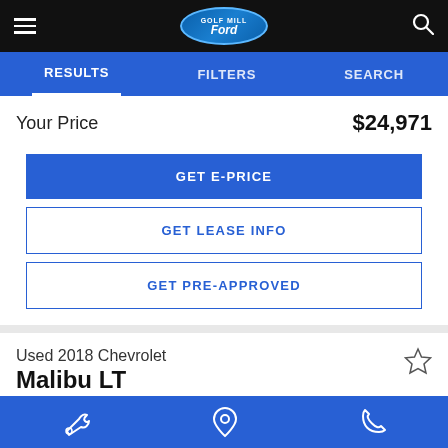Golf Mill Ford - Navigation header with hamburger menu, logo, and search icon
RESULTS | FILTERS | SEARCH
Your Price  $24,971
GET E-PRICE
GET LEASE INFO
GET PRE-APPROVED
Used 2018 Chevrolet Malibu LT
Bottom navigation: wrench icon, location pin icon, phone icon